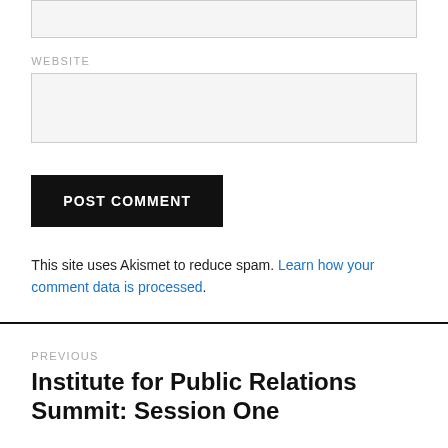WEBSITE
[input box]
POST COMMENT
This site uses Akismet to reduce spam. Learn how your comment data is processed.
PREVIOUS
Institute for Public Relations Summit: Session One